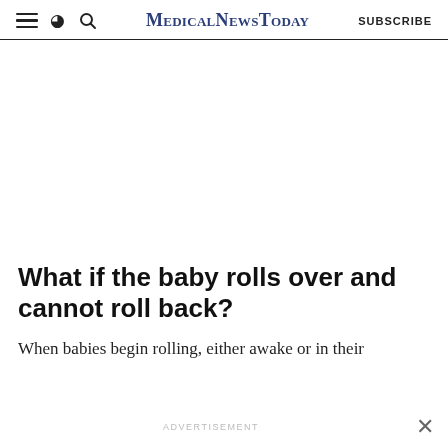MedicalNewsToday
What if the baby rolls over and cannot roll back?
When babies begin rolling, either awake or in their